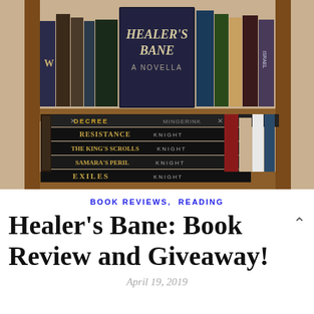[Figure (photo): Photo of a wooden bookshelf containing multiple books. A prominent book titled 'Healer's Bane: A Novella' is propped up on the top shelf. Lower shelf shows books with spines reading: Decree (Mingerink), Resistance (Knight), The King's Scrolls (Knight), Samara's Peril (Knight), Exiles (Knight), Bitter Winter (Knight), and others.]
BOOK REVIEWS, READING
Healer's Bane: Book Review and Giveaway!
April 19, 2019